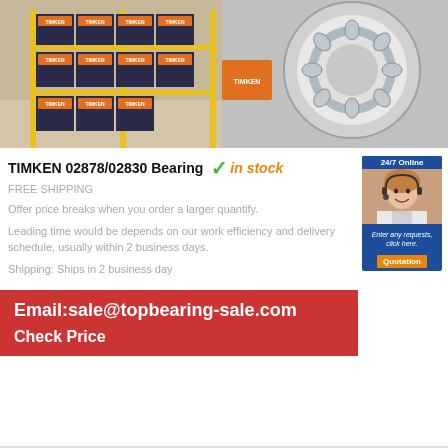[Figure (photo): Warehouse shelves stacked with orange and dark TIMKEN bearing boxes]
[Figure (photo): Close-up of a TIMKEN tapered roller bearing, showing steel ring and roller cage with orange TIMKEN box in background]
TIMKEN 02878/02830 Bearing
in stock
[Figure (photo): 24/7 Online support agent - woman with headset smiling]
FREE SHIPPING
Offer price breaks when you order a larger quantify.
Leading time would be depends on our work efficiency and delivery schedule, usually within 2 business days.
Shipping: Ships in 2 business day
Email:sale@topbearing-sale.com
Check Price